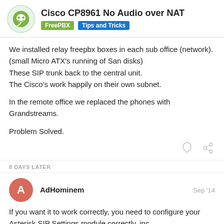Cisco CP8961 No Audio over NAT | FreePBX | Tips and Tricks
We installed relay freepbx boxes in each sub office (network). (small Micro ATX's running of San disks) These SIP trunk back to the central unit. The Cisco's work happily on their own subnet.

In the remote office we replaced the phones with Grandstreams.

Problem Solved.
8 DAYS LATER
AdHominem  Sep '14
If you want it to work correctly, you need to configure your Asterisk SIP Settings module correctly, inc and all the internal subnets.